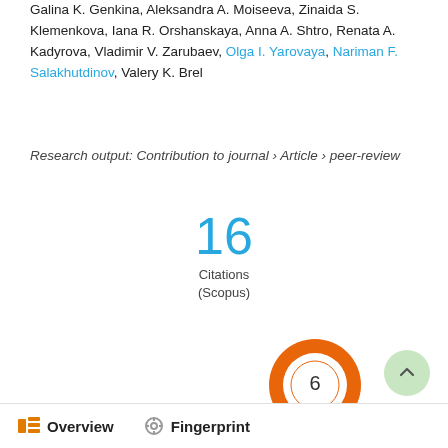Galina K. Genkina, Aleksandra A. Moiseeva, Zinaida S. Klemenkova, Iana R. Orshanskaya, Anna A. Shtro, Renata A. Kadyrova, Vladimir V. Zarubaev, Olga I. Yarovaya, Nariman F. Salakhutdinov, Valery K. Brel
Research output: Contribution to journal › Article › peer-review
[Figure (other): Citation count badge showing 16 Citations (Scopus)]
[Figure (donut-chart): Orange donut chart badge with number 6 in center]
Overview   Fingerprint